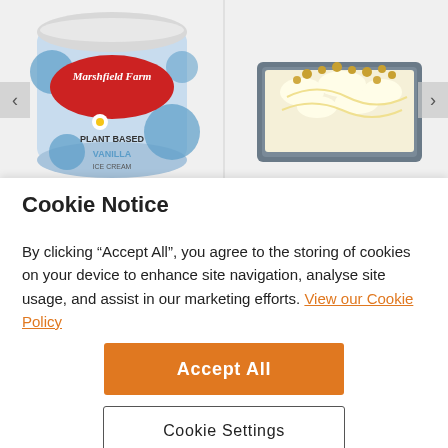[Figure (photo): Product carousel showing two images: left side shows a Marshfield Farm Plant Based Vanilla Ice Cream tub with blue polka dot design and red oval logo; right side shows a rectangular metal tray of ice cream topped with cream swirls and small round toppings. Navigation arrows on left and right.]
Cookie Notice
By clicking “Accept All”, you agree to the storing of cookies on your device to enhance site navigation, analyse site usage, and assist in our marketing efforts. View our Cookie Policy